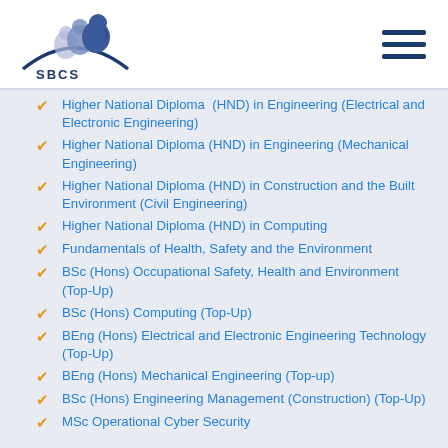[Figure (logo): SBCS Global Learning Institute logo with stylized head silhouettes in blue/purple tones]
Higher National Diploma (HND) in Engineering (Electrical and Electronic Engineering)
Higher National Diploma (HND) in Engineering (Mechanical Engineering)
Higher National Diploma (HND) in Construction and the Built Environment (Civil Engineering)
Higher National Diploma (HND) in Computing
Fundamentals of Health, Safety and the Environment
BSc (Hons) Occupational Safety, Health and Environment (Top-Up)
BSc (Hons) Computing (Top-Up)
BEng (Hons) Electrical and Electronic Engineering Technology (Top-Up)
BEng (Hons) Mechanical Engineering (Top-up)
BSc (Hons) Engineering Management (Construction) (Top-Up)
MSc Operational Cyber Security